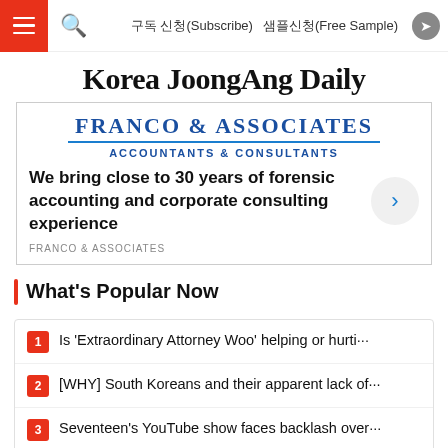구독 신청(Subscribe)   샘플신청(Free Sample)
Korea JoongAng Daily
[Figure (screenshot): Advertisement for Franco & Associates, Accountants & Consultants. Text reads: 'We bring close to 30 years of forensic accounting and corporate consulting experience'. Sponsored by FRANCO & ASSOCIATES.]
What's Popular Now
Is 'Extraordinary Attorney Woo' helping or hurti···
[WHY] South Koreans and their apparent lack of···
Seventeen's YouTube show faces backlash over···